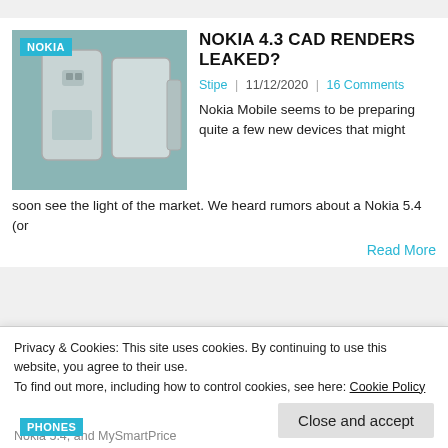[Figure (photo): Nokia device CAD renders showing back panels, with cyan NOKIA badge overlay]
NOKIA 4.3 CAD RENDERS LEAKED?
Stipe | 11/12/2020 | 16 Comments
Nokia Mobile seems to be preparing quite a few new devices that might soon see the light of the market. We heard rumors about a Nokia 5.4 (or
Read More
[Figure (photo): Nokia 5.4 phones on colorful pink/green/blue background with cyan PHONES badge overlay]
NOKIA 5.4 SPECIFICATIONS LEAKED (RUMOR)
Privacy & Cookies: This site uses cookies. By continuing to use this website, you agree to their use.
To find out more, including how to control cookies, see here: Cookie Policy
Close and accept
Nokia 5.4, and MySmartPrice